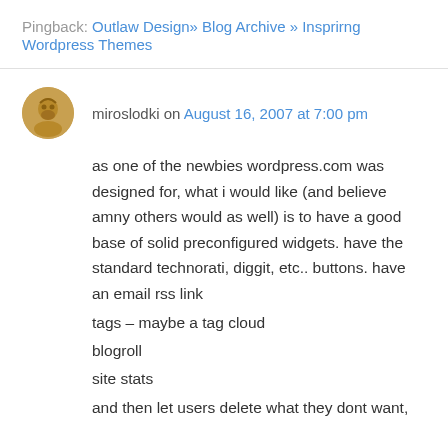Pingback: Outlaw Design» Blog Archive » Insprirng Wordpress Themes
miroslodki on August 16, 2007 at 7:00 pm
as one of the newbies wordpress.com was designed for, what i would like (and believe amny others would as well) is to have a good base of solid preconfigured widgets. have the standard technorati, diggit, etc.. buttons. have an email rss link
tags – maybe a tag cloud
blogroll
site stats
and then let users delete what they dont want,